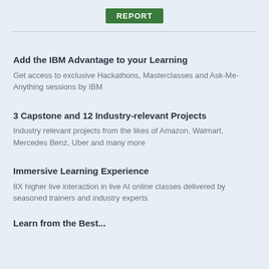[Figure (logo): Green REPORT badge/banner in header area]
Add the IBM Advantage to your Learning
Get access to exclusive Hackathons, Masterclasses and Ask-Me-Anything sessions by IBM
3 Capstone and 12 Industry-relevant Projects
Industry relevant projects from the likes of Amazon, Walmart, Mercedes Benz, Uber and many more
Immersive Learning Experience
8X higher live interaction in live AI online classes delivered by seasoned trainers and industry experts
Learn from the Best...